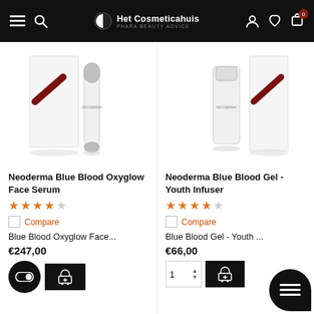Het Cosmeticahuis - Phara Beauty Advice
[Figure (photo): Neoderma Blue Blood Oxyglow Face Serum product photo showing serum pen and box packaging]
Neoderma Blue Blood Oxyglow Face Serum
[Figure (other): 4 filled stars and 1 empty star rating]
Compare
Blue Blood Oxyglow Face...
€247,00
[Figure (photo): Neoderma Blue Blood Gel - Youth Infuser product photo showing tube and box packaging]
Neoderma Blue Blood Gel - Youth Infuser
[Figure (other): 4 filled stars and 1 empty star rating]
Compare
Blue Blood Gel - Youth ...
€66,00